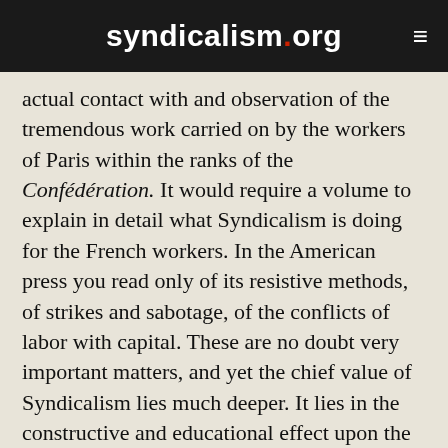syndicalism.org
actual contact with and observation of the tremendous work carried on by the workers of Paris within the ranks of the Confédération. It would require a volume to explain in detail what Syndicalism is doing for the French workers. In the American press you read only of its resistive methods, of strikes and sabotage, of the conflicts of labor with capital. These are no doubt very important matters, and yet the chief value of Syndicalism lies much deeper. It lies in the constructive and educational effect upon the life and